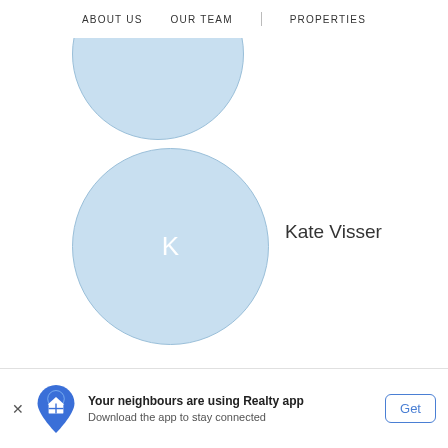ABOUT US   OUR TEAM   PROPERTIES
[Figure (illustration): Circular avatar placeholder with light blue fill, partially cropped at top of page]
[Figure (illustration): Circular avatar placeholder with light blue fill and letter K in white center, for Kate Visser]
Kate Visser
[Figure (illustration): Circular avatar placeholder with light blue fill and letter J in white center, for Jessica, partially cropped at bottom]
Jessica
Your neighbours are using Realty app
Download the app to stay connected
Get